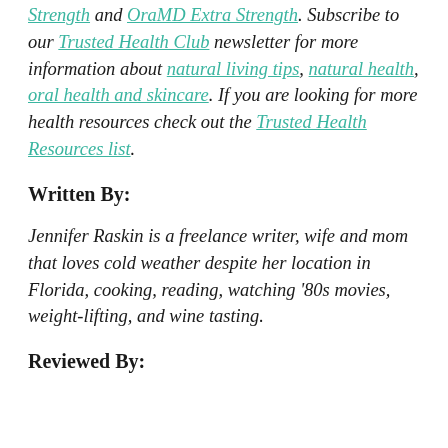Strength and OraMD Extra Strength. Subscribe to our Trusted Health Club newsletter for more information about natural living tips, natural health, oral health and skincare. If you are looking for more health resources check out the Trusted Health Resources list.
Written By:
Jennifer Raskin is a freelance writer, wife and mom that loves cold weather despite her location in Florida, cooking, reading, watching '80s movies, weight-lifting, and wine tasting.
Reviewed By: